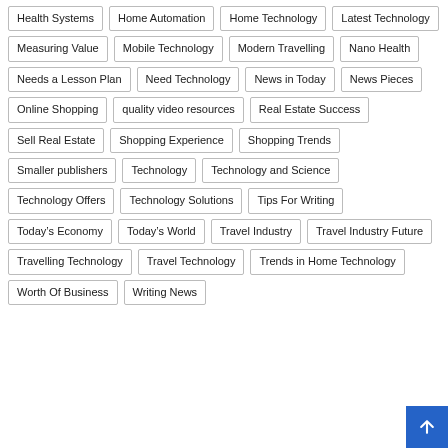Health Systems
Home Automation
Home Technology
Latest Technology
Measuring Value
Mobile Technology
Modern Travelling
Nano Health
Needs a Lesson Plan
Need Technology
News in Today
News Pieces
Online Shopping
quality video resources
Real Estate Success
Sell Real Estate
Shopping Experience
Shopping Trends
Smaller publishers
Technology
Technology and Science
Technology Offers
Technology Solutions
Tips For Writing
Today’s Economy
Today’s World
Travel Industry
Travel Industry Future
Travelling Technology
Travel Technology
Trends in Home Technology
Worth Of Business
Writing News